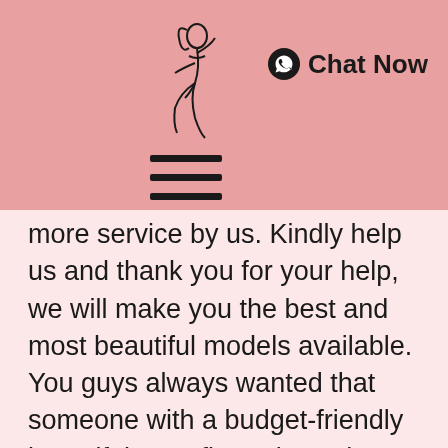[Figure (illustration): Line drawing illustration of a woman in a pose, used as a logo/brand image]
Chat Now
[Figure (other): Hamburger menu icon with two horizontal lines]
more service by us. Kindly help us and thank you for your help, we will make you the best and most beautiful models available. You guys always wanted that someone with a budget-friendly beautiful sexy figure in cash payment should become a